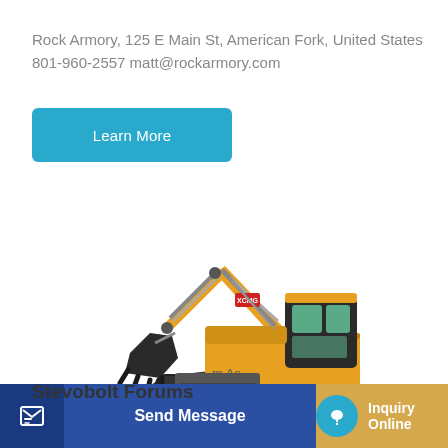Rock Armory, 125 E Main St, American Fork, United States
801-960-2557 matt@rockarmory.com
Learn More
[Figure (photo): Yellow XCMG mini excavator with black bucket attachment, rubber tracks, and operator cab, shown on white background]
Send Message
Inquiry Online
Stevobolt Forums